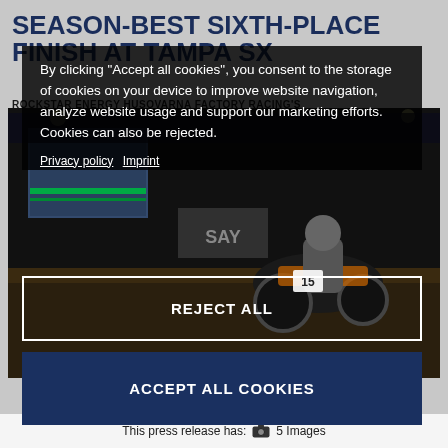SEASON-BEST SIXTH-PLACE FINISH AT TAMPA SX
ROCKSTAR ENERGY HUSOVARNA FACTORY RACING'S RJ HAMPSHIRE FINISHES SIXTH IN 250SX EAST OPENER
[Figure (photo): Motorcycle racer on dirt bike at Tampa SX supercross event, dark arena background]
By clicking "Accept all cookies", you consent to the storage of cookies on your device to improve website navigation, analyze website usage and support our marketing efforts. Cookies can also be rejected.
Privacy policy  Imprint
REJECT ALL
ACCEPT ALL COOKIES
This press release has: 5 Images